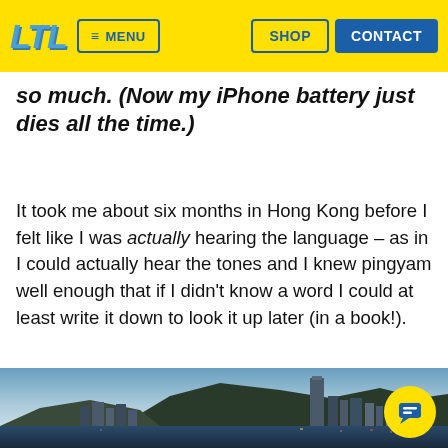LTL | MENU | SHOP | CONTACT
so much. (Now my iPhone battery just dies all the time.)
It took me about six months in Hong Kong before I felt like I was actually hearing the language – as in I could actually hear the tones and I knew pingyam well enough that if I didn't know a word I could at least write it down to look it up later (in a book!).
[Figure (photo): Hong Kong skyline at dusk with skyscrapers and mountains in the background, city lights reflecting on the harbour.]